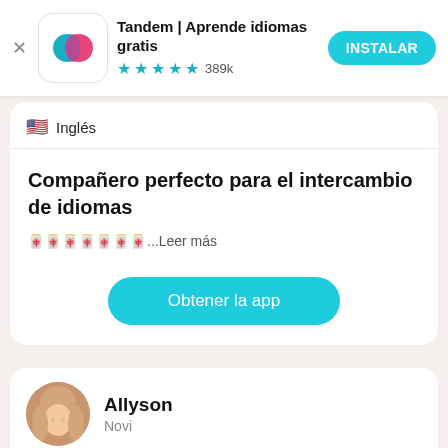[Figure (screenshot): Tandem app advertisement banner with app icon (teal and pink overlapping circles), title, star rating, and INSTALAR button]
🇺🇸 Inglés
Compañero perfecto para el intercambio de idiomas
🀄🀄🀄🀄🀄🀄🀄...Leer más
Obtener la app
[Figure (photo): Circular avatar photo of a young woman with light skin and long blonde/light brown hair]
Allyson
Novi